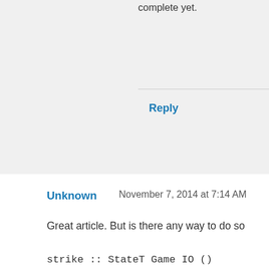Sorry, I meant to say that I had complete yet.
Reply
Unknown November 7, 2014 at 7:14 AM
Great article. But is there any way to do so
strike :: StateT Game IO ()
strike = do
lift $ putStrLn "*shink*"
boss.health -= player.damage
assuming we have defined